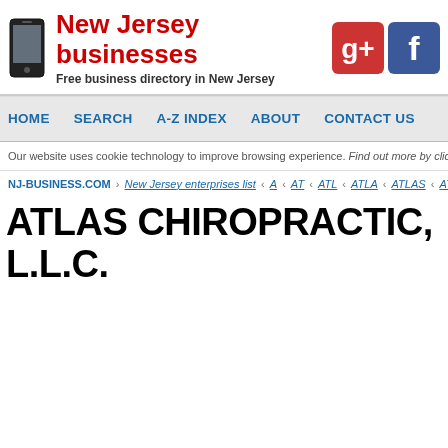New Jersey businesses — Free business directory in New Jersey
HOME  SEARCH  A-Z INDEX  ABOUT  CONTACT US
Our website uses cookie technology to improve browsing experience. Find out more by cli...
NJ-BUSINESS.COM › New Jersey enterprises list › A › AT › ATL › ATLA › ATLAS › ATLA...
ATLAS CHIROPRACTIC, L.L.C.